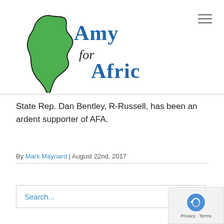[Figure (logo): Amy for Africa logo — green silhouette of Africa continent with 'Amy for Africa' text in blue, 'for' in script font]
State Rep. Dan Bentley, R-Russell, has been an ardent supporter of AFA.
By Mark Maynard | August 22nd, 2017